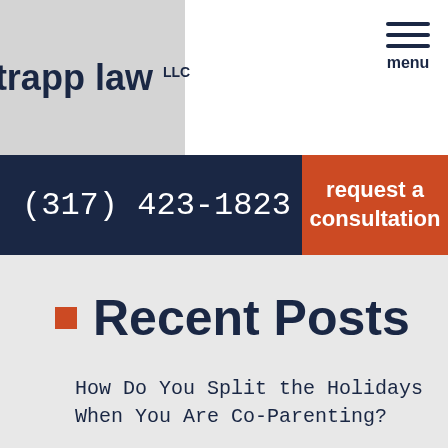trapp law LLC
(317) 423-1823
request a consultation
Recent Posts
How Do You Split the Holidays When You Are Co-Parenting?
What Happens When You Get Your First DUI in Indiana?